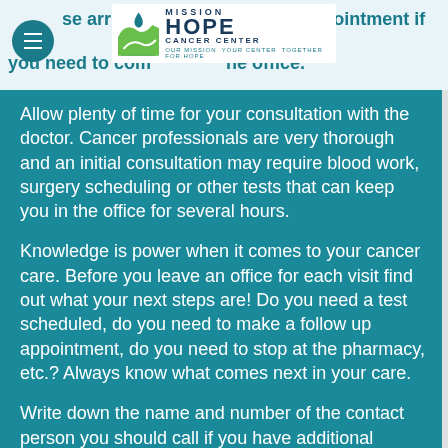[Figure (logo): Mission Hope Cancer Center logo with green and blue landscape graphic and text: MISSION HOPE CANCER CENTER, OUR MISSION YOUR CENTER TOGETHER FOR HOPE]
se arrive 30 a... appointment if you need to com... he office.
Allow plenty of time for your consultation with the doctor. Cancer professionals are very thorough and an initial consultation may require blood work, surgery scheduling or other tests that can keep you in the office for several hours.
Knowledge is power when it comes to your cancer care. Before you leave an office for each visit find out what your next steps are! Do you need a test scheduled, do you need to make a follow up appointment, do you need to stop at the pharmacy, etc.? Always know what comes next in your care.
Write down the name and number of the contact person you should call if you have additional questions...